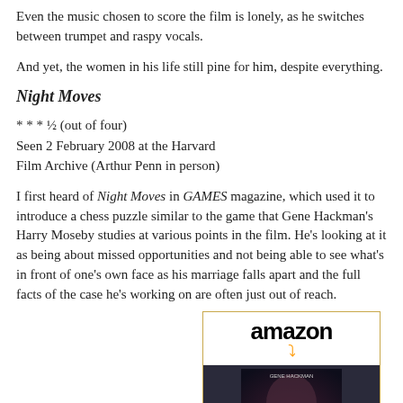Even the music chosen to score the film is lonely, as he switches between trumpet and raspy vocals.
And yet, the women in his life still pine for him, despite everything.
Night Moves
[Figure (other): Amazon advertisement box for Night Moves DVD showing the Amazon logo, DVD cover image, product name 'Night Moves (DVD)', price $9.99 with Prime badge, and Shop now button]
* * * ½ (out of four)
Seen 2 February 2008 at the Harvard Film Archive (Arthur Penn in person)
I first heard of Night Moves in GAMES magazine, which used it to introduce a chess puzzle similar to the game that Gene Hackman's Harry Moseby studies at various points in the film. He's looking at it as being about missed opportunities and not being able to see what's in front of one's own face as his marriage falls apart and the full facts of the case he's working on are often just out of reach.